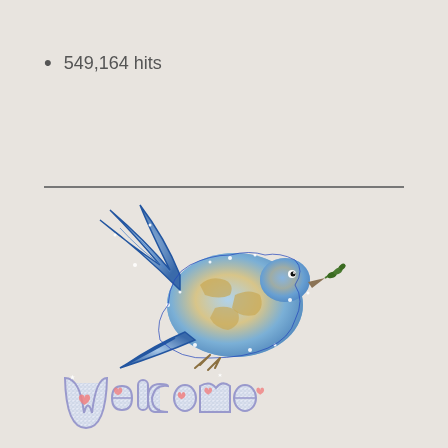549,164 hits
[Figure (illustration): A decorative blue peace dove with a world map pattern on its body, outlined with blue glitter, holding an olive branch in its beak. Below the dove is a glittery 'Welcome' text with pink hearts embedded in each letter, rendered in silver glitter with purple outlines.]